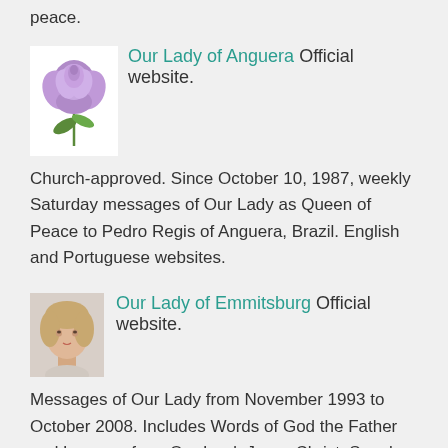peace.
[Figure (photo): A purple/lavender rose with green stem and leaves on a white background]
Our Lady of Anguera Official website. Church-approved. Since October 10, 1987, weekly Saturday messages of Our Lady as Queen of Peace to Pedro Regis of Anguera, Brazil. English and Portuguese websites.
[Figure (photo): A portrait/headshot of a woman with light hair on a light background]
Our Lady of Emmitsburg Official website. Messages of Our Lady from November 1993 to October 2008. Includes Words of God the Father and Lessons from Our Lord, Jesus Christ. Speaks of the Eucharistic Reign in the Great Era of Peace and other related